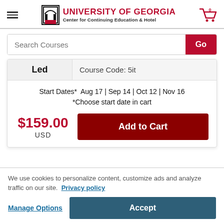UNIVERSITY OF GEORGIA Center for Continuing Education & Hotel
Search Courses
Led | Course Code: 5it
Start Dates* Aug 17 | Sep 14 | Oct 12 | Nov 16 *Choose start date in cart
$159.00 USD
Add to Cart
We use cookies to personalize content, customize ads and analyze traffic on our site. Privacy policy
Manage Options
Accept